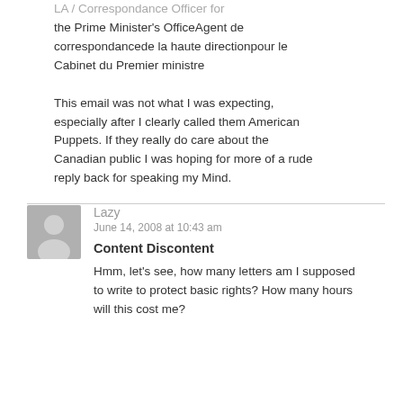...Correspondence Officer for the Prime Minister's OfficeAgent de correspondancede la haute directionpour le Cabinet du Premier ministre

This email was not what I was expecting, especially after I clearly called them American Puppets. If they really do care about the Canadian public I was hoping for more of a rude reply back for speaking my Mind.
Lazy
June 14, 2008 at 10:43 am

Content Discontent

Hmm, let's see, how many letters am I supposed to write to protect basic rights? How many hours will this cost me?